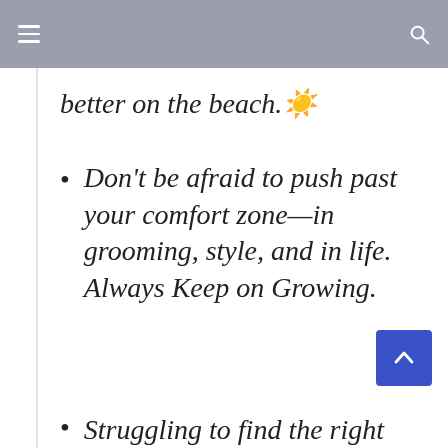≡  🔍
better on the beach. ☀️
Don't be afraid to push past your comfort zone—in grooming, style, and in life. Always Keep on Growing.
Struggling to find the right